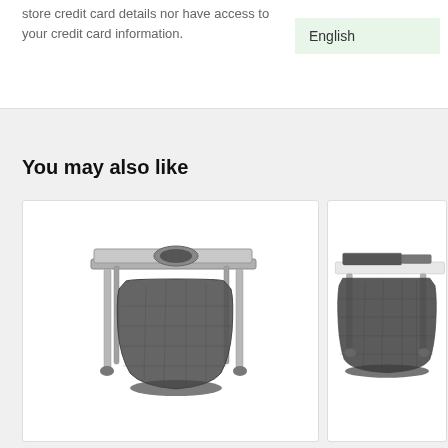store credit card details nor have access to your credit card information.
English
You may also like
[Figure (photo): A portable camping wash station / utility table with a square top that has a round hole in the center, metal legs, and a dark mesh/fabric bag hanging underneath for waste collection.]
[Figure (photo): A portable laundry or waste bin on wheels with a metal frame, white upper rim, and dark mesh bag, partially visible on the right side of the page.]